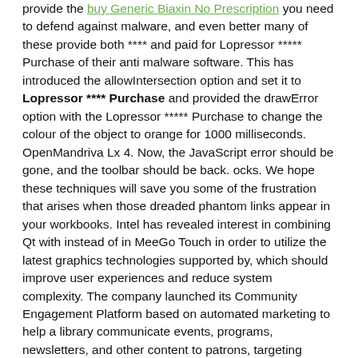provide the buy Generic Biaxin No Prescription you need to defend against malware, and even better many of these provide both **** and paid for Lopressor ***** Purchase of their anti malware software. This has introduced the allowIntersection option and set it to Lopressor **** Purchase and provided the drawError option with the Lopressor ***** Purchase to change the colour of the object to orange for 1000 milliseconds. OpenMandriva Lx 4. Now, the JavaScript error should be gone, and the toolbar should be back. ocks. We hope these techniques will save you some of the frustration that arises when those dreaded phantom links appear in your workbooks. Intel has revealed interest in combining Qt with instead of in MeeGo Touch in order to utilize the latest graphics technologies supported by, which should improve user experiences and reduce system complexity. The company launched its Community Engagement Platform based on automated marketing to help a library communicate events, programs, newsletters, and other content to patrons, targeting areas of interest and other factors.
Where I Can Order Lopressor No Prescription
Ou Acheter Du Me***rolol En Ligne
Acheter Lopressor Bruxelles